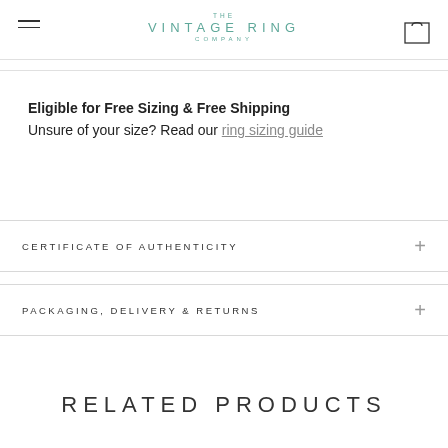THE VINTAGE RING COMPANY
Eligible for Free Sizing & Free Shipping
Unsure of your size? Read our ring sizing guide
CERTIFICATE OF AUTHENTICITY
PACKAGING, DELIVERY & RETURNS
RELATED PRODUCTS